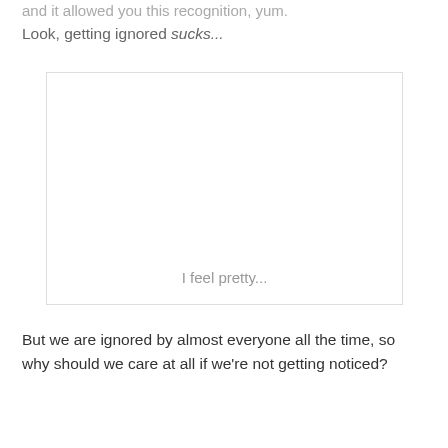and it allowed you this recognition, yum.
Look, getting ignored sucks...
[Figure (other): A large empty white box with light gray border containing the text 'I feel pretty...' near the bottom center.]
But we are ignored by almost everyone all the time, so why should we care at all if we're not getting noticed?